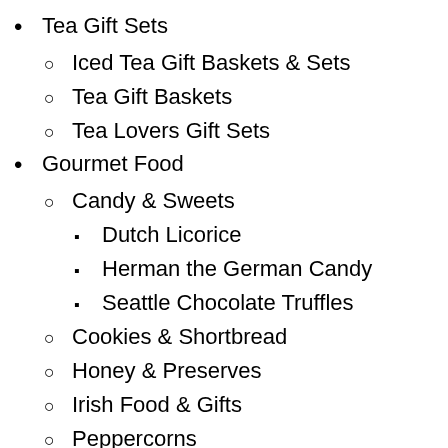Tea Gift Sets
Iced Tea Gift Baskets & Sets
Tea Gift Baskets
Tea Lovers Gift Sets
Gourmet Food
Candy & Sweets
Dutch Licorice
Herman the German Candy
Seattle Chocolate Truffles
Cookies & Shortbread
Honey & Preserves
Irish Food & Gifts
Peppercorns
Christmas 2022
Christmas Puddings